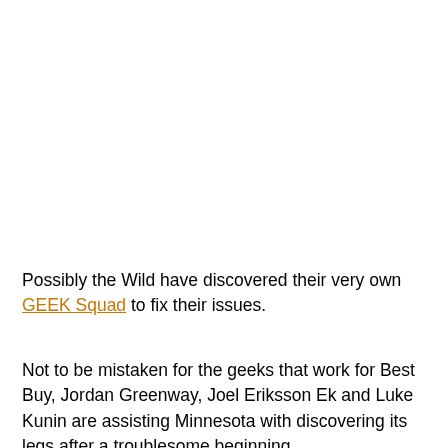Possibly the Wild have discovered their very own GEEK Squad to fix their issues.
Not to be mistaken for the geeks that work for Best Buy, Jordan Greenway, Joel Eriksson Ek and Luke Kunin are assisting Minnesota with discovering its legs after a troublesome beginning